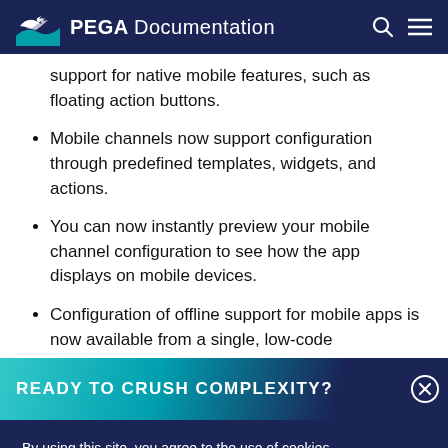PEGA Documentation
support for native mobile features, such as floating action buttons.
Mobile channels now support configuration through predefined templates, widgets, and actions.
You can now instantly preview your mobile channel configuration to see how the app displays on mobile devices.
Configuration of offline support for mobile apps is now available from a single, low-code
READY TO CRUSH COMPLEXITY?
By using this site, you agree to the use of cookies. Read our Privacy Policy
Accept and continue | About cookies